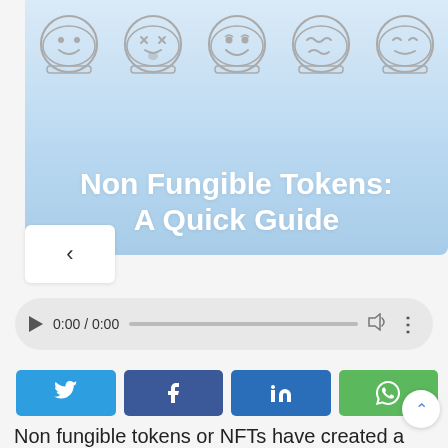[Figure (illustration): Hero banner with light blue gradient background showing five coin-shaped emoji icons (happy, dizzy/tongue-out, grinning, wavy-face, calm) at the top, and the bold white title 'Non Fungible Tokens: A Quick Guide' below them.]
Non Fungible Tokens: A Quick Guide
[Figure (screenshot): Audio player bar with play button, time display 0:00 / 0:00, progress bar, volume icon, and more-options icon.]
[Figure (infographic): Social share buttons row: Twitter (blue), Facebook (dark blue), LinkedIn (medium blue), WhatsApp (green).]
Non fungible tokens or NFTs have created a real buzz in the cryptocurrency space and the